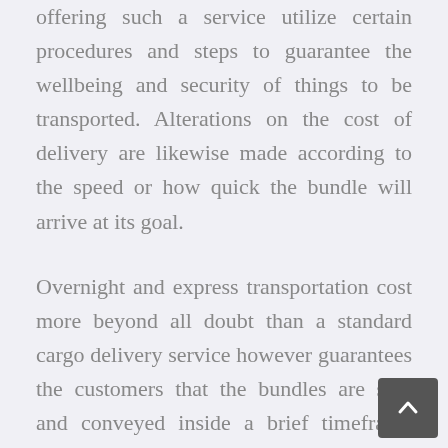offering such a service utilize certain procedures and steps to guarantee the wellbeing and security of things to be transported. Alterations on the cost of delivery are likewise made according to the speed or how quick the bundle will arrive at its goal.
Overnight and express transportation cost more beyond all doubt than a standard cargo delivery service however guarantees the customers that the bundles are sent and conveyed inside a brief timeframe period. Such bundles implied for the time being or express vehicle are generally flown or moved through planes particularly if the area of the